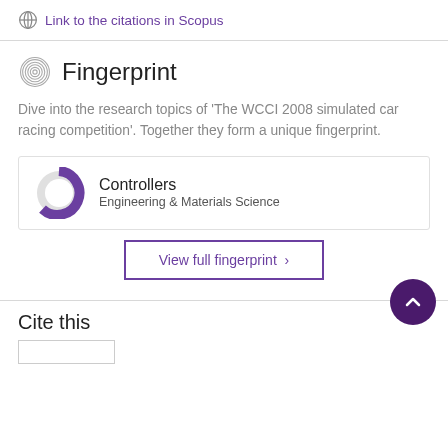Link to the citations in Scopus
Fingerprint
Dive into the research topics of 'The WCCI 2008 simulated car racing competition'. Together they form a unique fingerprint.
[Figure (infographic): Donut chart badge showing Controllers topic at high percentage, labeled Engineering & Materials Science]
View full fingerprint ›
Cite this